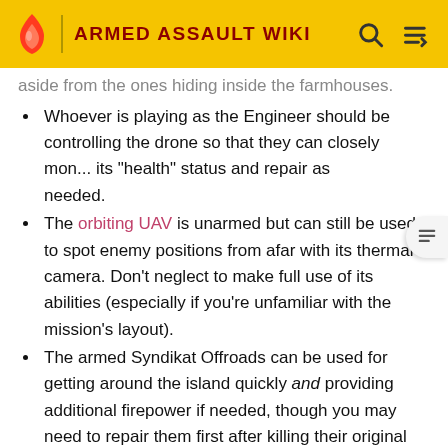ARMED ASSAULT WIKI
aside from the ones hiding inside the farmhouses.
Whoever is playing as the Engineer should be controlling the drone so that they can closely mon... its "health" status and repair as needed.
The orbiting UAV is unarmed but can still be used to spot enemy positions from afar with its thermal camera. Don't neglect to make full use of its abilities (especially if you're unfamiliar with the mission's layout).
The armed Syndikat Offroads can be used for getting around the island quickly and providing additional firepower if needed, though you may need to repair them first after killing their original owners.
Similarly, you can ride in the "cargo" seat of the UGV to get around the island faster. Dismount when near